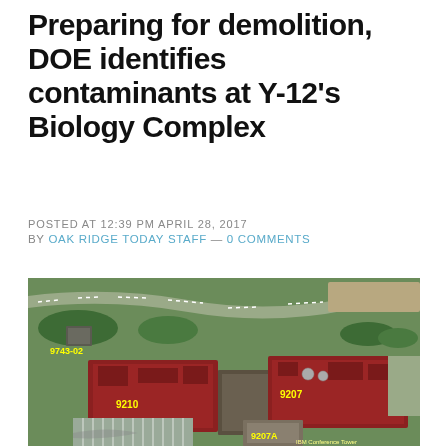Preparing for demolition, DOE identifies contaminants at Y-12's Biology Complex
POSTED AT 12:39 PM APRIL 28, 2017
BY OAK RIDGE TODAY STAFF — 0 COMMENTS
[Figure (photo): Aerial photograph of Y-12's Biology Complex showing buildings labeled 9743-02, 9210, 9207, and 9207A, with parking lots and surrounding landscape visible]